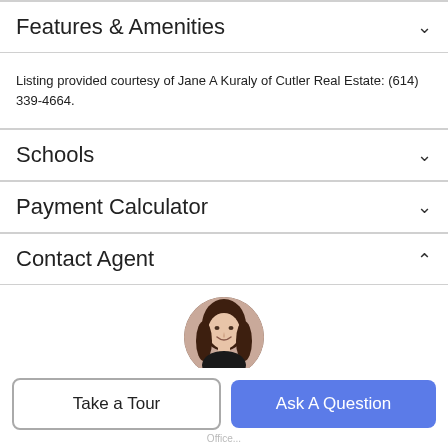Features & Amenities
Listing provided courtesy of Jane A Kuraly of Cutler Real Estate: (614) 339-4664.
Schools
Payment Calculator
Contact Agent
[Figure (photo): Headshot photo of a woman with brown hair, smiling, wearing a dark top]
Take a Tour
Ask A Question
Office...